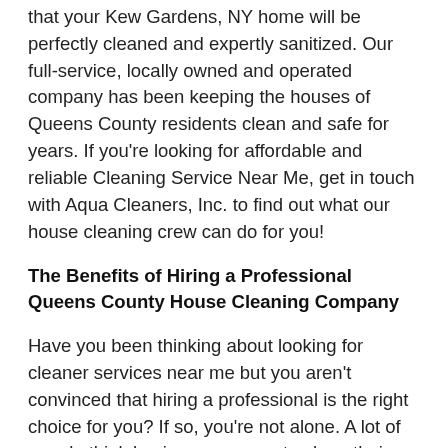that your Kew Gardens, NY home will be perfectly cleaned and expertly sanitized. Our full-service, locally owned and operated company has been keeping the houses of Queens County residents clean and safe for years. If you're looking for affordable and reliable Cleaning Service Near Me, get in touch with Aqua Cleaners, Inc. to find out what our house cleaning crew can do for you!
The Benefits of Hiring a Professional Queens County House Cleaning Company
Have you been thinking about looking for cleaner services near me but you aren't convinced that hiring a professional is the right choice for you? If so, you're not alone. A lot of people think having an agency to clean their home is a luxury; however, given the current health crisis that the world is facing, professional cleaning services are actually